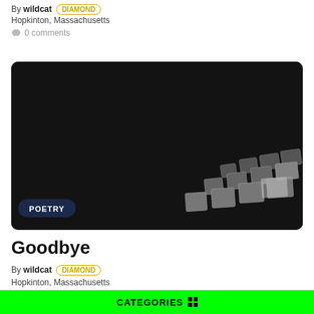By wildcat DIAMOND
Hopkinton, Massachusetts
0 comments
[Figure (photo): Black and white photo of a dark background with scattered tile-like objects arranged in a diagonal pattern in the lower-right area, with a POETRY badge overlaid at the bottom-left]
Goodbye
By wildcat DIAMOND
Hopkinton, Massachusetts
0 comments
CATEGORIES